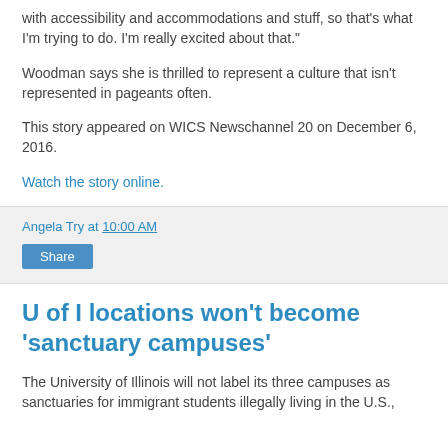with accessibility and accommodations and stuff, so that's what I'm trying to do. I'm really excited about that."
Woodman says she is thrilled to represent a culture that isn't represented in pageants often.
This story appeared on WICS Newschannel 20 on December 6, 2016.
Watch the story online.
Angela Try at 10:00 AM
Share
U of I locations won't become 'sanctuary campuses'
The University of Illinois will not label its three campuses as sanctuaries for immigrant students illegally living in the U.S.,